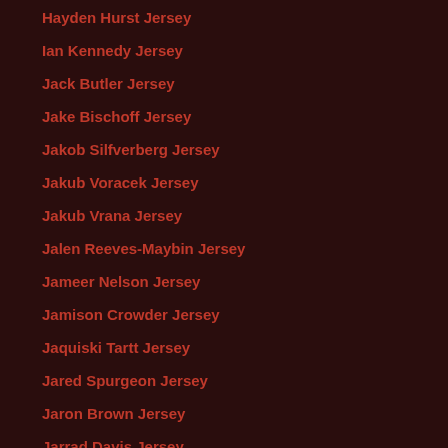Hayden Hurst Jersey
Ian Kennedy Jersey
Jack Butler Jersey
Jake Bischoff Jersey
Jakob Silfverberg Jersey
Jakub Voracek Jersey
Jakub Vrana Jersey
Jalen Reeves-Maybin Jersey
Jameer Nelson Jersey
Jamison Crowder Jersey
Jaquiski Tartt Jersey
Jared Spurgeon Jersey
Jaron Brown Jersey
Jarrad Davis Jersey
Jarran Reed Jersey